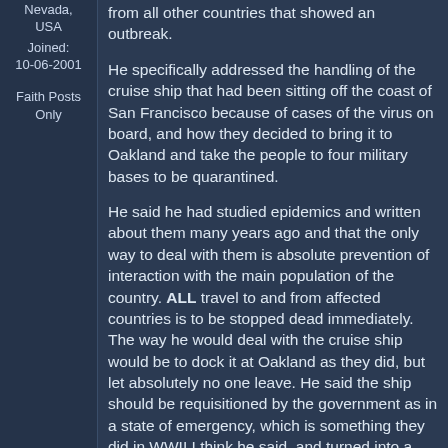Nevada, USA
Joined:
10-06-2001

Faith Posts Only
from all other countries that showed an outbreak.
He specifically addressed the handling of the cruise ship that had been sitting off the coast of San Francisco because of cases of the virus on board, and how they decided to bring it to Oakland and take the people to four military bases to be quarantined.
He said he had studied epidemics and written about them many years ago and that the only way to deal with them is absolute prevention of interaction with the main population of the country. ALL travel to and from affected countries is to be stopped dead immediately. The way he would deal with the cruise ship would be to dock it at Oakland as they did, but let absolutely no one leave. He said the ship should be requisitioned by the government as in a state of emergency, which is something they did in WWII I think he said, and turned into a hospital ship. Medical personnel, adequately suited up to protect themselves, should enter the ship to take care of the sick and